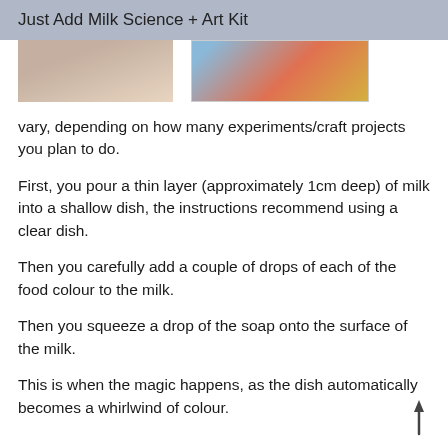Just Add Milk Science + Art Kit
[Figure (photo): Two partial photos of the science/art kit activities side by side]
vary, depending on how many experiments/craft projects you plan to do.
First, you pour a thin layer (approximately 1cm deep) of milk into a shallow dish, the instructions recommend using a clear dish.
Then you carefully add a couple of drops of each of the food colour to the milk.
Then you squeeze a drop of the soap onto the surface of the milk.
This is when the magic happens, as the dish automatically becomes a whirlwind of colour.